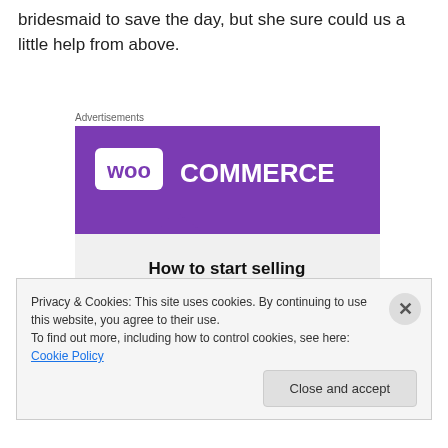bridesmaid to save the day, but she sure could us a little help from above.
Advertisements
[Figure (illustration): WooCommerce advertisement banner with purple header containing WooCommerce logo, teal triangle decoration on lower left, blue arc on lower right, and bold text reading 'How to start selling subscriptions online']
Privacy & Cookies: This site uses cookies. By continuing to use this website, you agree to their use.
To find out more, including how to control cookies, see here: Cookie Policy